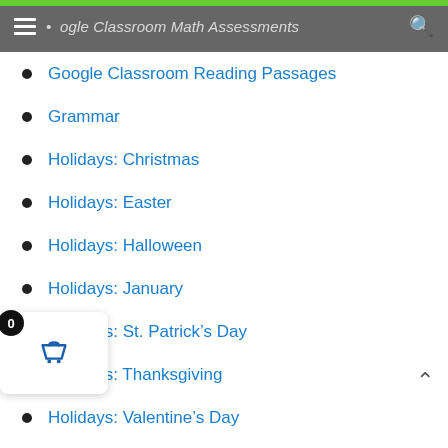Google Classroom Math Assessments
Google Classroom Reading Passages
Grammar
Holidays: Christmas
Holidays: Easter
Holidays: Halloween
Holidays: January
Holidays: St. Patrick’s Day
Holidays: Thanksgiving
Holidays: Valentine’s Day
Literacy Centers
Math
Common Core Math – 4th Grade